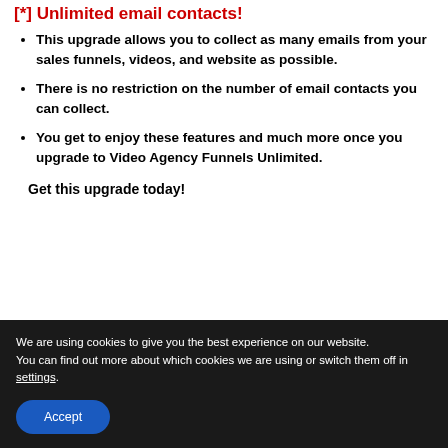[*] Unlimited email contacts!
This upgrade allows you to collect as many emails from your sales funnels, videos, and website as possible.
There is no restriction on the number of email contacts you can collect.
You get to enjoy these features and much more once you upgrade to Video Agency Funnels Unlimited.
Get this upgrade today!
We are using cookies to give you the best experience on our website.
You can find out more about which cookies we are using or switch them off in settings.
Accept